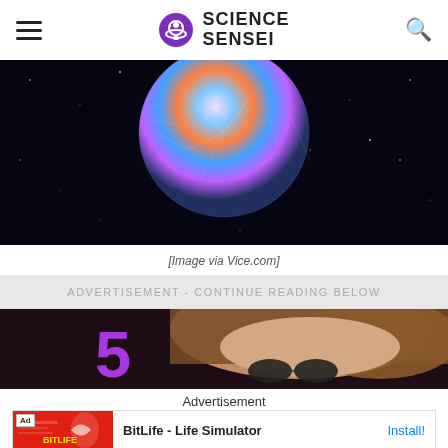Science Sensei
[Figure (photo): A colorful crystal-like spherical object against a dark starry space background]
[Image via Vice.com]
ADVERTISEMENT - CONTINUE READING BELOW
[Figure (photo): Close-up of a person with long brown hair and round dark sunglasses, purple neon number 5 in background]
Advertisement
[Figure (screenshot): BitLife - Life Simulator ad unit with red background and app icon]